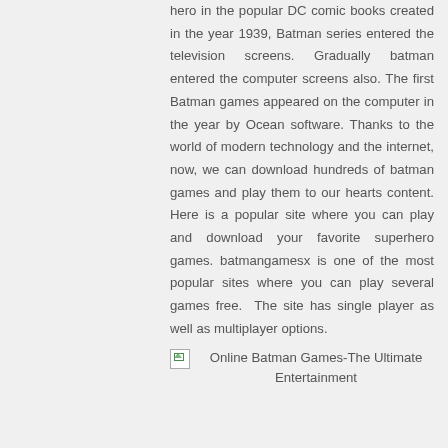hero in the popular DC comic books created in the year 1939, Batman series entered the television screens. Gradually batman entered the computer screens also. The first Batman games appeared on the computer in the year by Ocean software. Thanks to the world of modern technology and the internet, now, we can download hundreds of batman games and play them to our hearts content. Here is a popular site where you can play and download your favorite superhero games. batmangamesx is one of the most popular sites where you can play several games free.  The site has single player as well as multiplayer options.
[Figure (illustration): Broken image placeholder with caption: Online Batman Games-The Ultimate Entertainment]
Online Batman Games-The Ultimate Entertainment